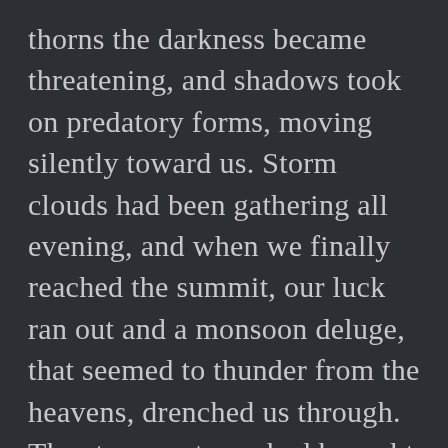thorns the darkness became threatening, and shadows took on predatory forms, moving silently toward us. Storm clouds had been gathering all evening, and when we finally reached the summit, our luck ran out and a monsoon deluge, that seemed to thunder from the heavens, drenched us through. The straw mats we had brought with us ostensibly to aid in a meditative session beneath the stars quickly became instruments of shelter beneath a furious black squall. We looked utterly pathetic, human vulnerability on open display. Roughly five minutes later, the rain eased, and the Professor gave a reading on